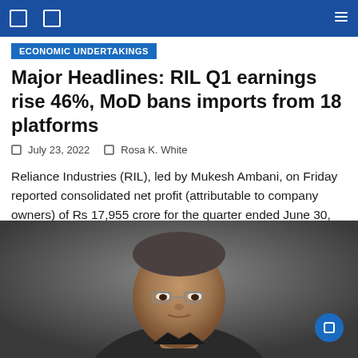Economic undertakings
Major Headlines: RIL Q1 earnings rise 46%, MoD bans imports from 18 platforms
July 23, 2022   Rosa K. White
Reliance Industries (RIL), led by Mukesh Ambani, on Friday reported consolidated net profit (attributable to company owners) of Rs 17,955 crore for the quarter ended June 30, 2022 (Q1), up 46, 3% compared to the previous year. The company also warned that a global recession could hurt oil refining margins, signaling the [...]
[Figure (photo): Portrait photo of a man with short grey hair and glasses, wearing a dark suit, against a grey background. Head and shoulders visible.]